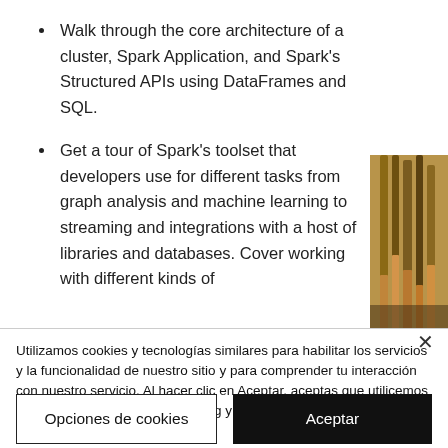Walk through the core architecture of a cluster, Spark Application, and Spark's Structured APIs using DataFrames and SQL.
Get a tour of Spark's toolset that developers use for different tasks from graph analysis and machine learning to streaming and integrations with a host of libraries and databases. Cover working with different kinds of
[Figure (photo): Partial image of paint brushes on the right side of the page]
Utilizamos cookies y tecnologías similares para habilitar los servicios y la funcionalidad de nuestro sitio y para comprender tu interacción con nuestro servicio. Al hacer clic en Aceptar, aceptas que utilicemos dichas tecnologías para marketing y estadísticas. Ver Política de Privacidad
Opciones de cookies
Aceptar